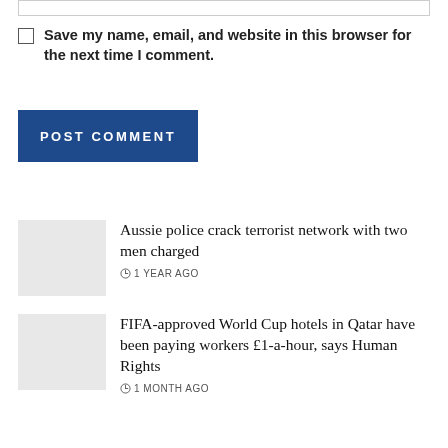Save my name, email, and website in this browser for the next time I comment.
POST COMMENT
Aussie police crack terrorist network with two men charged
1 YEAR AGO
FIFA-approved World Cup hotels in Qatar have been paying workers £1-a-hour, says Human Rights
1 MONTH AGO